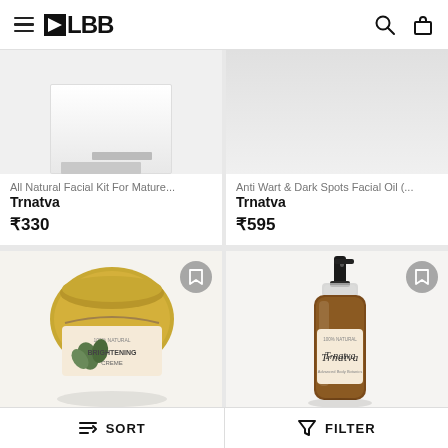LBB navigation header with menu, logo, search, and bag icons
[Figure (photo): All Natural Facial Kit For Mature... product image (partially visible top), white/gray background]
All Natural Facial Kit For Mature...
Trnatva
₹330
[Figure (photo): Anti Wart & Dark Spots Facial Oil product image (partially visible top), light gray background]
Anti Wart & Dark Spots Facial Oil (...
Trnatva
₹595
[Figure (photo): Brightening cream jar with gold lid and Trnatva label, on white background]
[Figure (photo): Trnatva spray bottle (amber glass) with black pump top, on white background]
SORT   FILTER